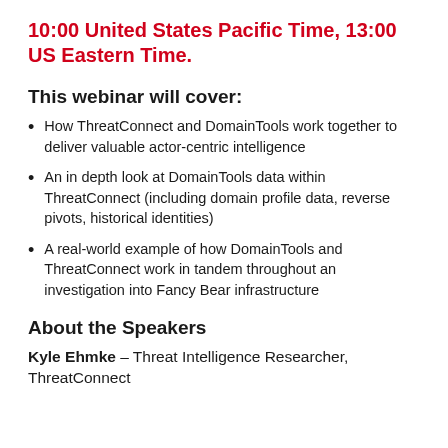10:00 United States Pacific Time, 13:00 US Eastern Time.
This webinar will cover:
How ThreatConnect and DomainTools work together to deliver valuable actor-centric intelligence
An in depth look at DomainTools data within ThreatConnect (including domain profile data, reverse pivots, historical identities)
A real-world example of how DomainTools and ThreatConnect work in tandem throughout an investigation into Fancy Bear infrastructure
About the Speakers
Kyle Ehmke – Threat Intelligence Researcher, ThreatConnect